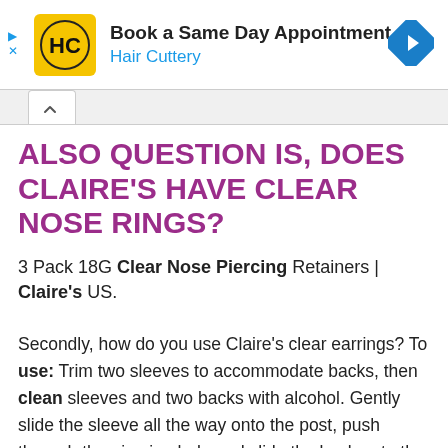[Figure (screenshot): Hair Cuttery advertisement banner with logo, 'Book a Same Day Appointment' text, and navigation icon]
ALSO QUESTION IS, DOES CLAIRE'S HAVE CLEAR NOSE RINGS?
3 Pack 18G Clear Nose Piercing Retainers | Claire's US.
Secondly, how do you use Claire's clear earrings? To use: Trim two sleeves to accommodate backs, then clean sleeves and two backs with alcohol. Gently slide the sleeve all the way onto the post, push through the piercing hole and slide the back onto the post